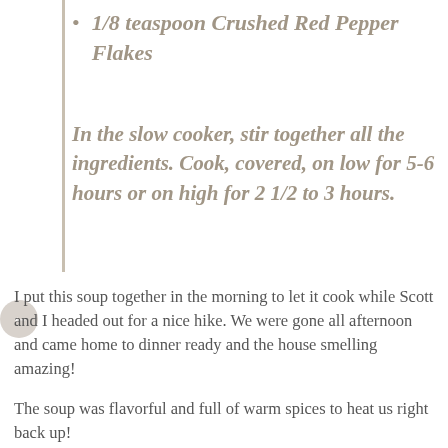1/8 teaspoon Crushed Red Pepper Flakes
In the slow cooker, stir together all the ingredients.  Cook, covered, on low for 5-6 hours or on high for 2 1/2 to 3 hours.
I put this soup together in the morning to let it cook while Scott and I headed out for a nice hike.  We were gone all afternoon and came home to dinner ready and the house smelling amazing!
The soup was flavorful and full of warm spices to heat us right back up!
One thing that I loved about this cookbook is that the